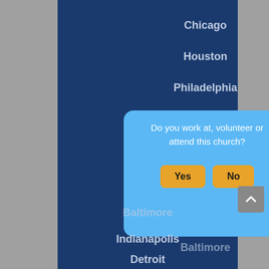Chicago
Houston
Philadelphia
Cleveland
Do you work at, volunteer or attend this church?
Baltimore
Indianapolis
Detroit
Cincinnati